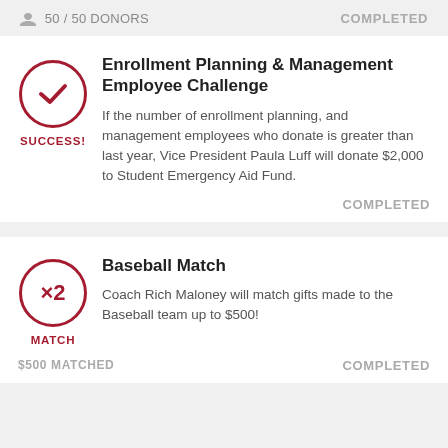50 / 50 DONORS
COMPLETED
Enrollment Planning & Management Employee Challenge
If the number of enrollment planning, and management employees who donate is greater than last year, Vice President Paula Luff will donate $2,000 to Student Emergency Aid Fund.
SUCCESS!
COMPLETED
Baseball Match
Coach Rich Maloney will match gifts made to the Baseball team up to $500!
MATCH
$500 MATCHED
COMPLETED